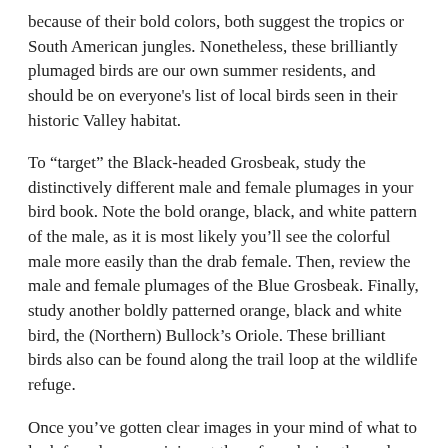because of their bold colors, both suggest the tropics or South American jungles. Nonetheless, these brilliantly plumaged birds are our own summer residents, and should be on everyone’s list of local birds seen in their historic Valley habitat.
To “target” the Black-headed Grosbeak, study the distinctively different male and female plumages in your bird book. Note the bold orange, black, and white pattern of the male, as it is most likely you’ll see the colorful male more easily than the drab female. Then, review the male and female plumages of the Blue Grosbeak. Finally, study another boldly patterned orange, black and white bird, the (Northern) Bullock’s Oriole. These brilliant birds also can be found along the trail loop at the wildlife refuge.
Once you’ve gotten clear images in your mind of what to look for, plan on arriving at the refuge during the early morning hours, when the birds are most vocal and active. By midday the birds quiet down to escape the summer heat. Most people hear Black-headed Grosbeaks before they see them. The song is loud, exuberant, and distinctive. You can review it here.